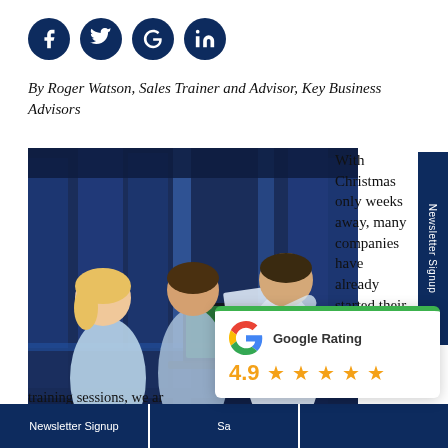[Figure (infographic): Social media icons row: Facebook, Twitter, Google, LinkedIn — dark navy circle buttons]
By Roger Watson, Sales Trainer and Advisor, Key Business Advisors
[Figure (photo): Three people in an electronics store looking at a laptop — sales scene with TVs and blue lighting in background]
With Christmas only weeks away, many companies have already started their peak selling period.
les training sessions, we ar
[Figure (infographic): Google Rating card showing 4.9 stars with 5 orange star icons and green top border]
Newsletter Signup
Newsletter Signup
Sa
(third footer button)